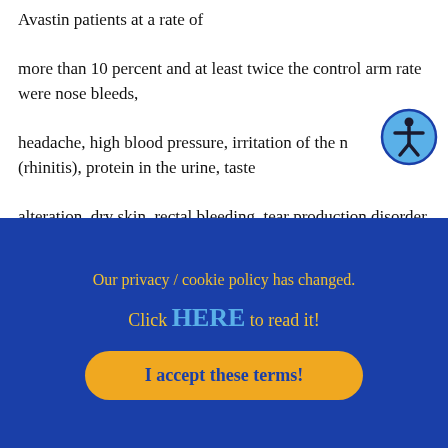Avastin patients at a rate of more than 10 percent and at least twice the control arm rate were nose bleeds, headache, high blood pressure, irritation of the nose (rhinitis), protein in the urine, taste alteration, dry skin, rectal bleeding, tear production disorder (lacrimation), and
Our privacy / cookie policy has changed.
Click HERE to read it!
I accept these terms!